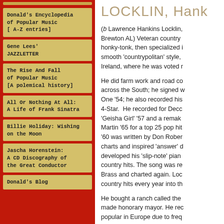Donald's Encyclopedia of Popular Music [ A-Z entries]
Gene Lees' JAZZLETTER
The Rise And Fall of Popular Music [A polemical history]
All Or Nothing At All: A Life of Frank Sinatra
Billie Holiday: Wishing on the Moon
Jascha Horenstein: A CD Discography of the Great Conductor
Donald's Blog
LOCKLIN, Hank
(b Lawrence Hankins Locklin, Brewton AL) Veteran country honky-tonk, then specialized in smooth 'countrypolitan' style, Ireland, where he was voted r
He did farm work and road co across the South; he signed w One '54; he also recorded his 4-Star.  He recorded for Decc 'Geisha Girl' '57 and a remak Martin '65 for a top 25 pop hi '60 was written by Don Rober charts and inspired 'answer' d developed his 'slip-note' pian country hits. The song was re Brass and charted again. Loc country hits every year into th
He bought a ranch called the made honorary mayor. He rec popular in Europe due to freq records. He was said to be th Send Me The Pillow That You